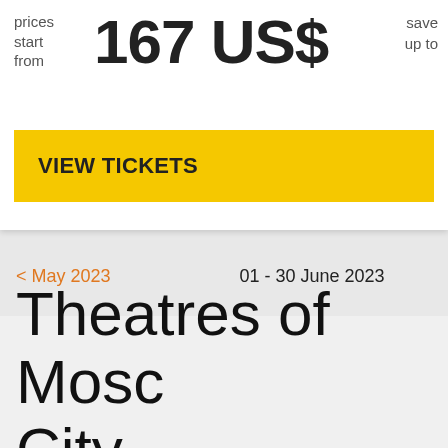prices start from
167 US$
save up to
VIEW TICKETS
< May 2023
01 - 30 June 2023
Theatres of Moscow City